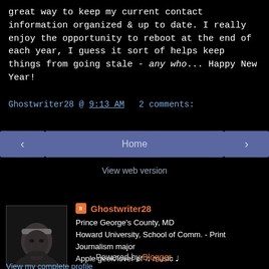great way to keep my current contact information organized & up to date. I really enjoy the opportunity to reboot at the end of each year, I guess it sort of helps keep things from going stale - any who... Happy New Year!
Ghostwriter28 @ 9:13 AM   2 comments:
Home
View web version
[Figure (photo): Black and white profile photo of a young man wearing a headband, chin resting on hand]
Ghostwriter28
Prince George's County, MD
Howard University, School of Comm. - Print Journalism major
Apple geek/lover of ♪ music ♫
View my complete profile
Powered by Blogger.